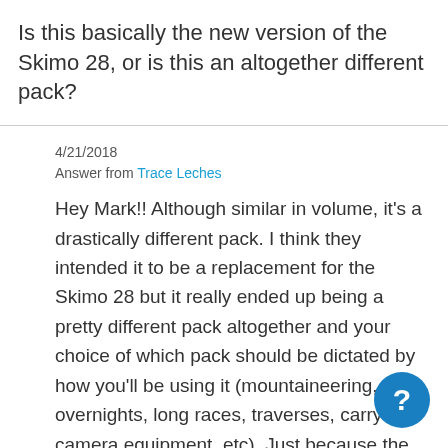Is this basically the new version of the Skimo 28, or is this an altogether different pack?
4/21/2018
Answer from Trace Leches
Hey Mark!! Although similar in volume, it's a drastically different pack. I think they intended it to be a replacement for the Skimo 28 but it really ended up being a pretty different pack altogether and your choice of which pack should be dictated by how you'll be using it (mountaineering, overnights, long races, traverses, carrying camera equipment, etc). Just because the Adventure Vest exists does necessarily mean the Skimo 28 is outdated, just kind of a different approach to a 30ish liter